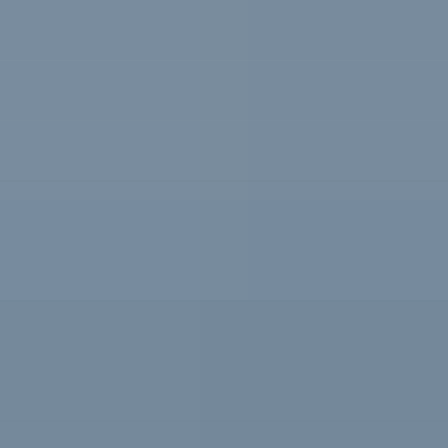[Figure (photo): Uniform blue-grey background with subtle texture variations, no discernible text or distinct objects visible.]